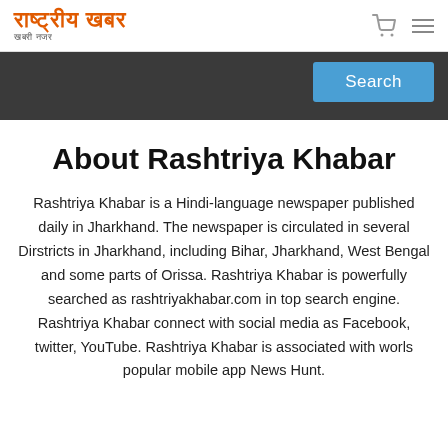राष्ट्रीय खबर — खबरी नजर
Search
About Rashtriya Khabar
Rashtriya Khabar is a Hindi-language newspaper published daily in Jharkhand. The newspaper is circulated in several Dirstricts in Jharkhand, including Bihar, Jharkhand, West Bengal and some parts of Orissa. Rashtriya Khabar is powerfully searched as rashtriyakhabar.com in top search engine. Rashtriya Khabar connect with social media as Facebook, twitter, YouTube. Rashtriya Khabar is associated with worls popular mobile app News Hunt.